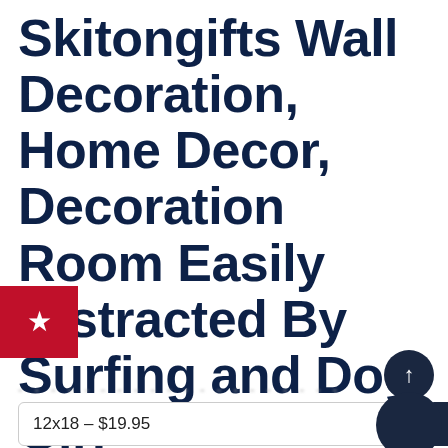Skitongifts Wall Decoration, Home Decor, Decoration Room Easily Distracted By Surfing and Dog Girl Newfoundland-TT0110.jpg
[Figure (other): Red bookmark badge with a white star icon overlaid on the title text]
[Figure (other): Dark circular scroll-to-top button with upward arrow]
[Figure (other): Dark circular chat/support button]
12x18 - $19.95
Add to